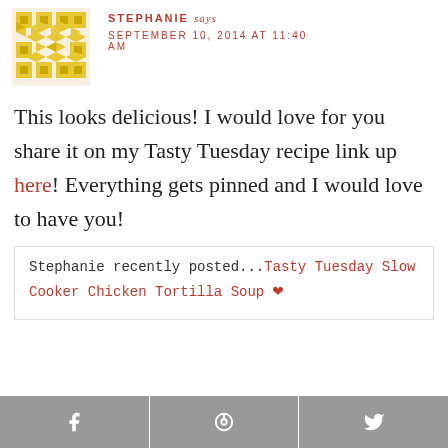[Figure (illustration): Yellow geometric/quilt pattern avatar image]
STEPHANIE says
SEPTEMBER 10, 2014 AT 11:40 AM
This looks delicious! I would love for you share it on my Tasty Tuesday recipe link up here! Everything gets pinned and I would love to have you!
Stephanie recently posted...Tasty Tuesday Slow Cooker Chicken Tortilla Soup ♥
[Figure (infographic): Social share bar with Facebook, Pinterest, and Twitter buttons]